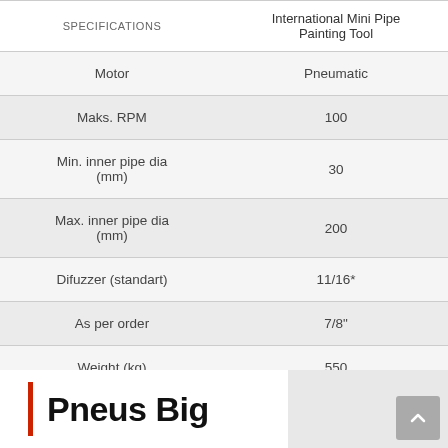| SPECIFICATIONS | International Mini Pipe Painting Tool |
| --- | --- |
| Motor | Pneumatic |
| Maks. RPM | 100 |
| Min. inner pipe dia (mm) | 30 |
| Max. inner pipe dia (mm) | 200 |
| Difuzzer (standart) | 11/16* |
| As per order | 7/8" |
| Weight (kg) | 550 |
Pneus Big